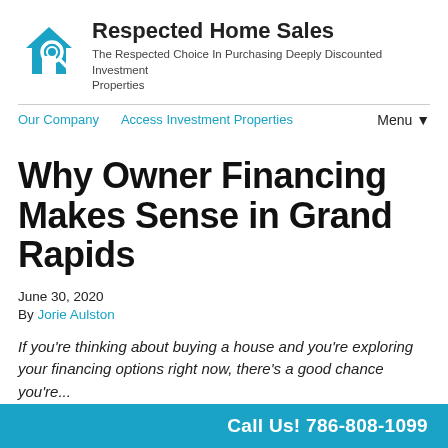[Figure (logo): Respected Home Sales logo: house icon with magnifying glass in teal/blue color]
Respected Home Sales
The Respected Choice In Purchasing Deeply Discounted Investment Properties
Our Company   Access Investment Properties   Menu▼
Why Owner Financing Makes Sense in Grand Rapids
June 30, 2020
By Jorie Aulston
If you're thinking about buying a house and you're exploring your financing options right now, there's a good chance you're...
Call Us! 786-808-1099